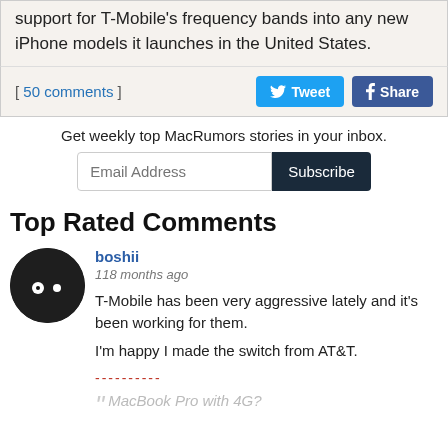support for T-Mobile's frequency bands into any new iPhone models it launches in the United States.
[ 50 comments ]
Get weekly top MacRumors stories in your inbox.
Top Rated Comments
boshii
118 months ago
T-Mobile has been very aggressive lately and it's been working for them.

I'm happy I made the switch from AT&T.
----------
MacBook Pro with 4G?